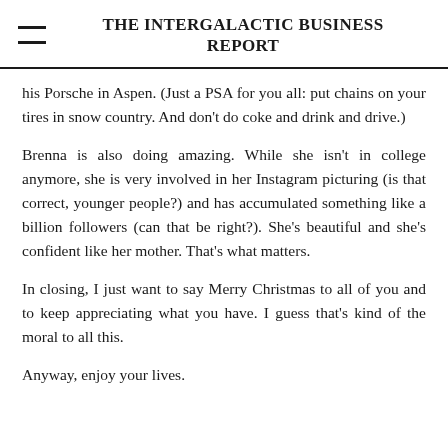THE INTERGALACTIC BUSINESS REPORT
his Porsche in Aspen. (Just a PSA for you all: put chains on your tires in snow country. And don't do coke and drink and drive.)
Brenna is also doing amazing. While she isn't in college anymore, she is very involved in her Instagram picturing (is that correct, younger people?) and has accumulated something like a billion followers (can that be right?). She's beautiful and she's confident like her mother. That's what matters.
In closing, I just want to say Merry Christmas to all of you and to keep appreciating what you have. I guess that's kind of the moral to all this.
Anyway, enjoy your lives.